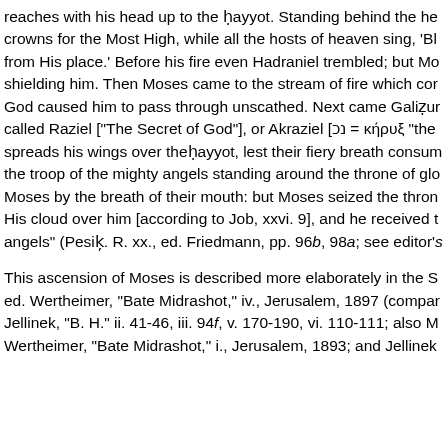reaches with his head up to the ḥayyot. Standing behind the he crowns for the Most High, while all the hosts of heaven sing, 'Bl from His place.' Before his fire even Hadraniel trembled; but Mo shielding him. Then Moses came to the stream of fire which cor God caused him to pass through unscathed. Next came Galiẓur called Raziel ["The Secret of God"], or Akraziel [נכ = κήρυξ "the spreads his wings over theḥayyot, lest their fiery breath consum the troop of the mighty angels standing around the throne of glo Moses by the breath of their mouth: but Moses seized the thron His cloud over him [according to Job, xxvi. 9], and he received t angels" (Pesik̦. R. xx., ed. Friedmann, pp. 96b, 98a; see editor's
This ascension of Moses is described more elaborately in the S ed. Wertheimer, "Bate Midrashot," iv., Jerusalem, 1897 (compar Jellinek, "B. H." ii. 41-46, iii. 94f, v. 170-190, vi. 110-111; also M Wertheimer, "Bate Midrashot," i., Jerusalem, 1893; and Jellinek